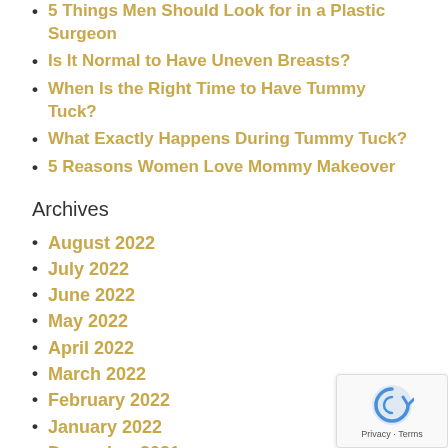5 Things Men Should Look for in a Plastic Surgeon
Is It Normal to Have Uneven Breasts?
When Is the Right Time to Have Tummy Tuck?
What Exactly Happens During Tummy Tuck?
5 Reasons Women Love Mommy Makeover
Archives
August 2022
July 2022
June 2022
May 2022
April 2022
March 2022
February 2022
January 2022
December 2021
November 2021
October 2021